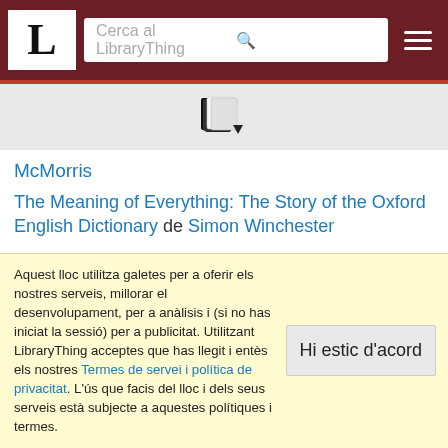[Figure (screenshot): LibraryThing website header with logo 'L', search bar reading 'Cerca al LibraryThing', and hamburger menu icon on dark red background]
[Figure (illustration): Book/document icon with a dropdown arrow, on a light grey background]
McMorris
The Meaning of Everything: The Story of the Oxford English Dictionary de Simon Winchester
Defining the World: The Extraordinary Story of Dr Johnson's Dictionary de Henry Hitchings
Aquest lloc utilitza galetes per a oferir els nostres serveis, millorar el desenvolupament, per a anàlisis i (si no has iniciat la sessió) per a publicitat. Utilitzant LibraryThing acceptes que has llegit i entès els nostres Termes de servei i política de privacitat. L'ús que facis del lloc i dels seus serveis està subjecte a aquestes polítiques i termes.
Hi estic d'acord